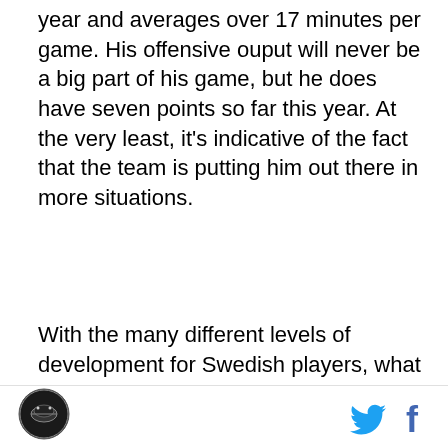year and averages over 17 minutes per game. His offensive ouput will never be a big part of his game, but he does have seven points so far this year. At the very least, it's indicative of the fact that the team is putting him out there in more situations.
With the many different levels of development for Swedish players, what does it mean to have a nineteen year old playing important minutes with the big club? With Djurgarden, perhaps not too much. Claesson is the fourth youngest player on the team's roster and one of four defensemen born in 1990 or later. Still, playing a top role in one of the world's better leagues is without question a terrific experience and opportunity for growth for the teenager. Besides, did anybody